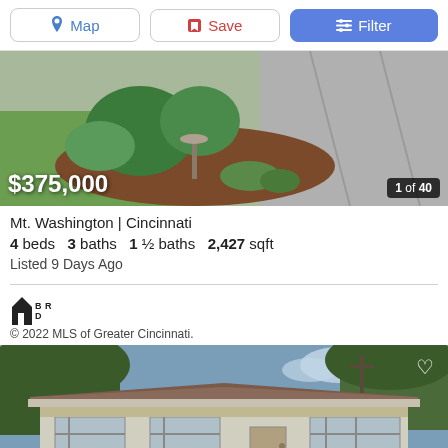[Figure (screenshot): Navigation bar with Map, Save, and Filter buttons]
[Figure (photo): Exterior garden photo of property with birdbath and mulched bed, price $375,000 overlaid, photo count 1 of 40]
Mt. Washington | Cincinnati
4 beds   3 baths   1 ½ baths   2,427 sqft
Listed 9 Days Ago
[Figure (logo): BDR house logo for MLS of Greater Cincinnati]
© 2022 MLS of Greater Cincinnati.
[Figure (photo): Exterior front photo of ranch-style home with brown roof, white siding, and heart/favorite icon in upper right]